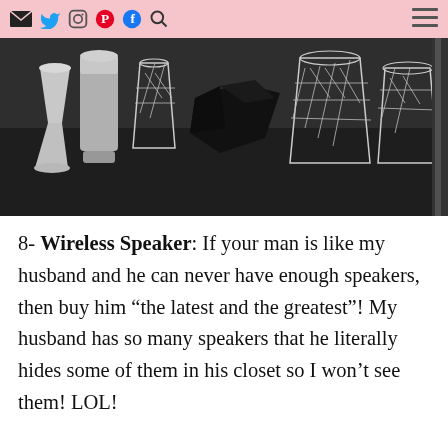[social media icons: email, Twitter, Instagram, Pinterest, Facebook, Search, Menu]
[Figure (photo): Photo of bar accessories on a dark surface: silver jigger, cocktail shaker, crystal whiskey glasses with diamond-cut pattern, and a folded black cloth]
8- Wireless Speaker: If your man is like my husband and he can never have enough speakers, then buy him “the latest and the greatest”! My husband has so many speakers that he literally hides some of them in his closet so I won’t see them! LOL!